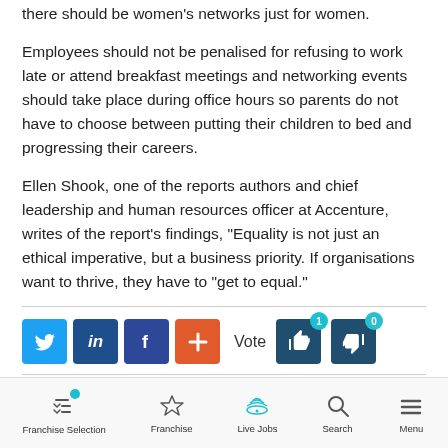there should be women's networks just for women.
Employees should not be penalised for refusing to work late or attend breakfast meetings and networking events should take place during office hours so parents do not have to choose between putting their children to bed and progressing their careers.
Ellen Shook, one of the reports authors and chief leadership and human resources officer at Accenture, writes of the report’s findings, “Equality is not just an ethical imperative, but a business priority. If organisations want to thrive, they have to “get to equal.”
[Figure (infographic): Social sharing buttons: Twitter (blue), LinkedIn (dark blue), Facebook (dark blue), Plus/Add (orange). Vote section with thumbs up (badge: 1) and thumbs down (badge: 0) buttons in dark teal.]
Franchise Selection | Franchise | Live Jobs | Search | Menu